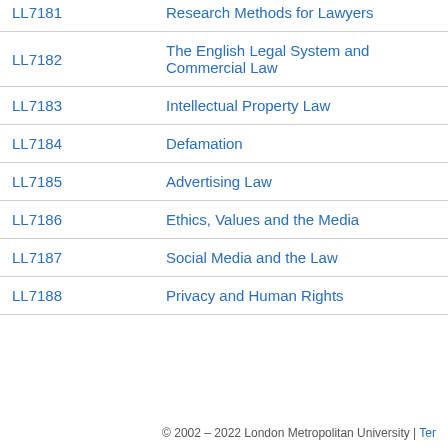| Code | Module |
| --- | --- |
| LL7181 | Research Methods for Lawyers |
| LL7182 | The English Legal System and Commercial Law |
| LL7183 | Intellectual Property Law |
| LL7184 | Defamation |
| LL7185 | Advertising Law |
| LL7186 | Ethics, Values and the Media |
| LL7187 | Social Media and the Law |
| LL7188 | Privacy and Human Rights |
© 2002 – 2022 London Metropolitan University | Ter...